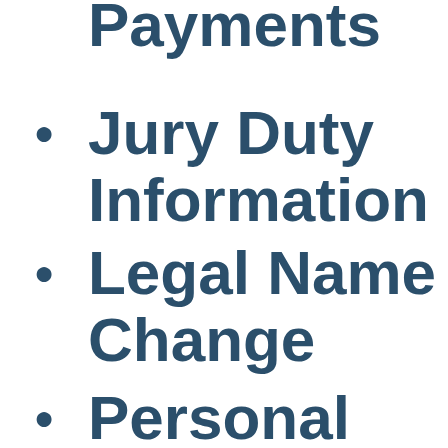Payments
Jury Duty Information
Legal Name Change
Personal